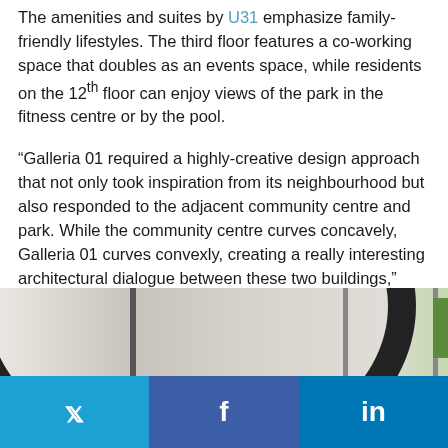The amenities and suites by U31 emphasize family-friendly lifestyles. The third floor features a co-working space that doubles as an events space, while residents on the 12th floor can enjoy views of the park in the fitness centre or by the pool.
“Galleria 01 required a highly-creative design approach that not only took inspiration from its neighbourhood but also responded to the adjacent community centre and park. While the community centre curves concavely, Galleria 01 curves convexly, creating a really interesting architectural dialogue between these two buildings,” says Charles Gane, Principal at CORE Architects.
[Figure (photo): Interior photo of a building space showing a curved black architectural element, ceiling pendant lights, and a glimpse of greenery on the right edge.]
Twitter | Facebook | LinkedIn social share buttons